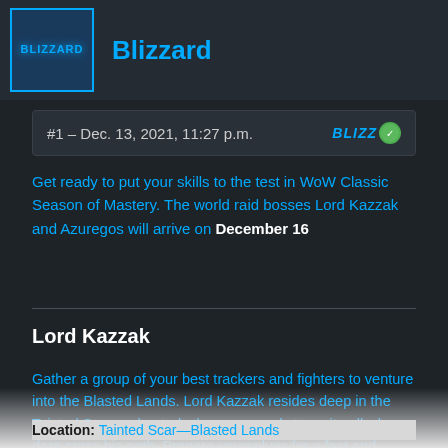[Figure (logo): Blizzard logo box with blue border and text 'BLIZZARD' in cyan glow style]
Blizzard
#1 – Dec. 13, 2021, 11:27 p.m.
Get ready to put your skills to the test in WoW Classic Season of Mastery. The world raid bosses Lord Kazzak and Azuregos will arrive on December 16
Lord Kazzak
Gather a group of your best trackers and fighters to venture into the Blasted Lands. Lord Kazzak resides deep in the Tainted Scar and patrols the area, ready to smite all who dare cross his path. Prepare yourselves for a fast and furious battle against time and watch out for his Shadow Bolt Volley, which causes massive amounts of raid-wide damage.
Location: Tainted Scar—Blasted Lands